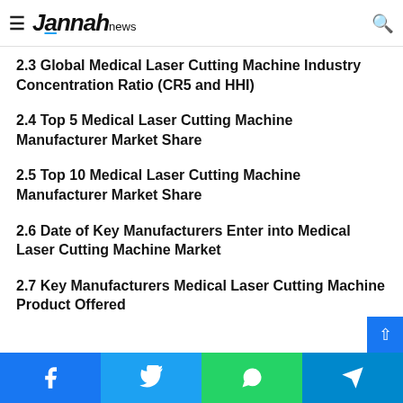Market Share by Manufacturer (2018-2021) — Jannah news
2.3 Global Medical Laser Cutting Machine Industry Concentration Ratio (CR5 and HHI)
2.4 Top 5 Medical Laser Cutting Machine Manufacturer Market Share
2.5 Top 10 Medical Laser Cutting Machine Manufacturer Market Share
2.6 Date of Key Manufacturers Enter into Medical Laser Cutting Machine Market
2.7 Key Manufacturers Medical Laser Cutting Machine Product Offered
Social share bar: Facebook, Twitter, WhatsApp, Telegram